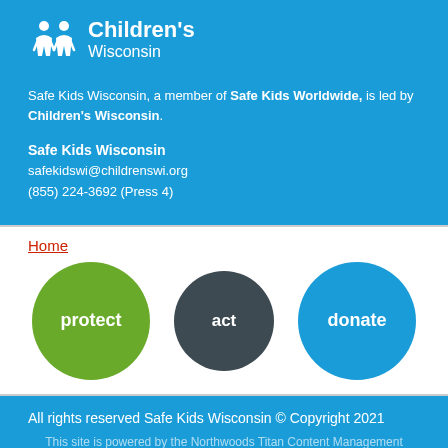[Figure (logo): Children's Wisconsin logo with two white human figures and text 'Children's Wisconsin' on blue background]
Safe Kids Wisconsin, a member of Safe Kids Worldwide, is led by Children's Wisconsin.
Safe Kids Wisconsin
safekidswi@childrenswi.org
(855) 224-3692 (Press 4)
Home
[Figure (infographic): Three circles side by side: green circle with 'protect', dark gray circle with 'act', blue circle with 'donate']
All rights reserved Safe Kids Wisconsin © Copyright 2021
This site is powered by the Northwoods Titan Content Management System.